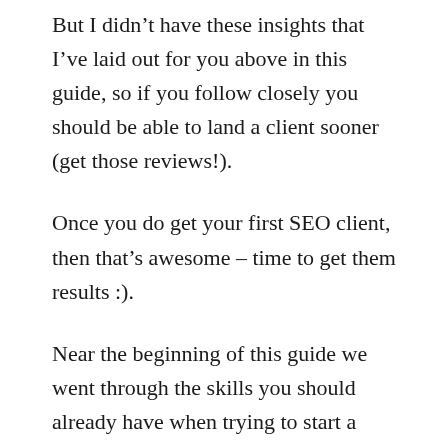But I didn't have these insights that I've laid out for you above in this guide, so if you follow closely you should be able to land a client sooner (get those reviews!).
Once you do get your first SEO client, then that's awesome – time to get them results :).
Near the beginning of this guide we went through the skills you should already have when trying to start a freelance SEO business (i.e. you should know how to improve a website's rankings), so we don't need to get into any,